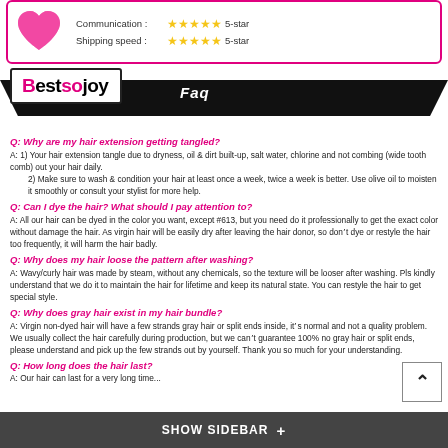[Figure (illustration): Rating box with pink heart image, Communication 5-star and Shipping speed 5-star ratings with gold stars]
[Figure (logo): Bestsojoy brand logo on black banner with Faq label]
Q: Why are my hair extension getting tangled?
A: 1) Your hair extension tangle due to dryness, oil & dirt built-up, salt water, chlorine and not combing (wide tooth comb) out your hair daily.
  2) Make sure to wash & condition your hair at least once a week, twice a week is better. Use olive oil to moisten it smoothly or consult your stylist for more help.
Q: Can I dye the hair? What should I pay attention to?
A: All our hair can be dyed in the color you want, except #613, but you need do it professionally to get the exact color without damage the hair. As virgin hair will be easily dry after leaving the hair donor, so don't dye or restyle the hair too frequently, it will harm the hair badly.
Q: Why does my hair loose the pattern after washing?
A: Wavy/curly hair was made by steam, without any chemicals, so the texture will be looser after washing. Pls kindly understand that we do it to maintain the hair for lifetime and keep its natural state. You can restyle the hair to get special style.
Q: Why does gray hair exist in my hair bundle?
A: Virgin non-dyed hair will have a few strands gray hair or split ends inside, it's normal and not a quality problem. We usually collect the hair carefully during production, but we can't guarantee 100% no gray hair or split ends, please understand and pick up the few strands out by yourself. Thank you so much for your understanding.
Q: How long does the hair last?
A: Our hair can last for a very long time...
SHOW SIDEBAR +